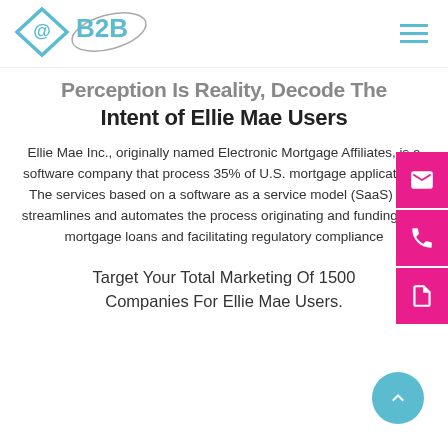@B2B logo and navigation
Perception Is Reality, Decode The Intent of Ellie Mae Users
Ellie Mae Inc., originally named Electronic Mortgage Affiliates, is a software company that process 35% of U.S. mortgage applications. The services based on a software as a service model (SaaS) that streamlines and automates the process originating and funding new mortgage loans and facilitating regulatory compliance
Target Your Total Marketing Of 1500 Companies For Ellie Mae Users.